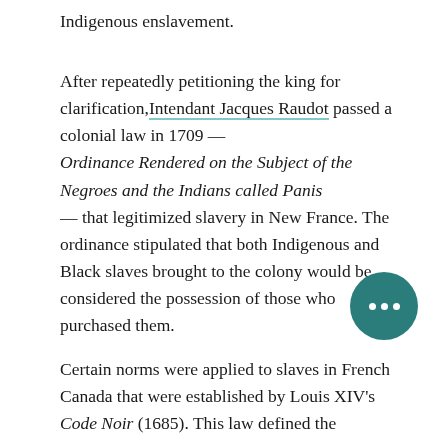Indigenous enslavement.
After repeatedly petitioning the king for clarification, Intendant Jacques Raudot passed a colonial law in 1709 — Ordinance Rendered on the Subject of the Negroes and the Indians called Panis — that legitimized slavery in New France. The ordinance stipulated that both Indigenous and Black slaves brought to the colony would be considered the possession of those who purchased them.
Certain norms were applied to slaves in French Canada that were established by Louis XIV's Code Noir (1685). This law defined the